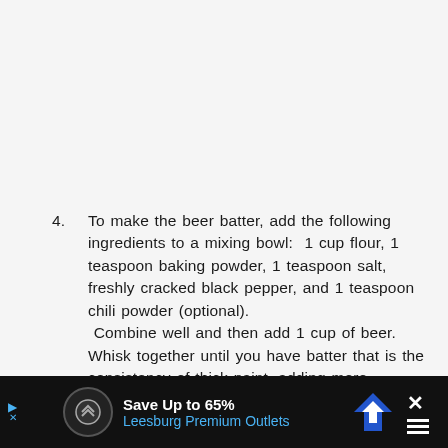4. To make the beer batter, add the following ingredients to a mixing bowl:  1 cup flour, 1 teaspoon baking powder, 1 teaspoon salt, freshly cracked black pepper, and 1 teaspoon chili powder (optional). Combine well and then add 1 cup of beer. Whisk together until you have batter that is the consistency of thick paint, adding more
[Figure (other): Advertisement banner: black background with circular icon, 'Save Up to 65%' in white, 'Leesburg Premium Outlets' in blue, navigation arrow icon, and X close button]